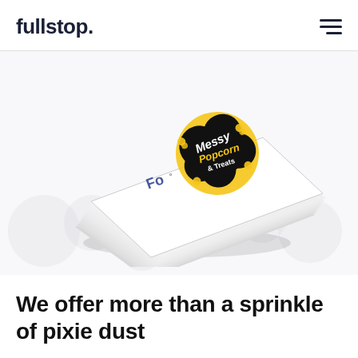fullstop.
[Figure (photo): Stack of rounded-corner white business cards fanned out, with the top card showing the 'Messy Popcorn & Treats' logo — a black cloud/bubble shape with yellow and white hand-lettered text and popcorn illustrations. Another card shows partial blue text 'Fo' (partial 'fullstop.' branding). Background is light gray with subtle circular bokeh shapes.]
We offer more than a sprinkle of pixie dust